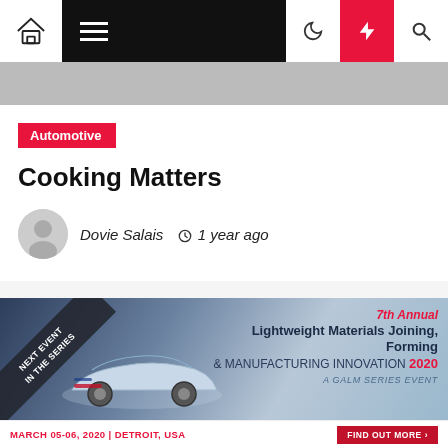Navigation bar with home icon, hamburger menu, moon icon, lightning bolt (red), search icon
Automotive
Cooking Matters
Dovie Salais  1 year ago
[Figure (photo): Event banner for 7th Annual Lightweight Materials Joining, Forming & Manufacturing Innovation 2020 - A GALM Series Event, with a car graphic and a diagonal ribbon reading NEXT EVENT IN THE SERIES]
MARCH 05-06, 2020 | DETROIT, USA   FIND OUT MORE